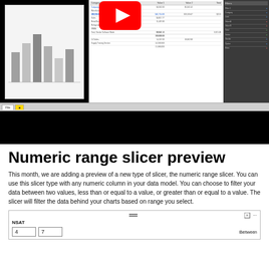[Figure (screenshot): Screenshot of a Power BI report showing a bar chart on the left, a spreadsheet/table in the center, and a dark side panel on the right. A YouTube play button is visible at the top center.]
Numeric range slicer preview
This month, we are adding a preview of a new type of slicer, the numeric range slicer. You can use this slicer type with any numeric column in your data model. You can choose to filter your data between two values, less than or equal to a value, or greater than or equal to a value. The slicer will filter the data behind your charts based on range you select.
[Figure (screenshot): Screenshot of a numeric range slicer UI widget labeled 'NSAT' with two input boxes showing values 4 and 7, and a 'Between' dropdown on the right.]